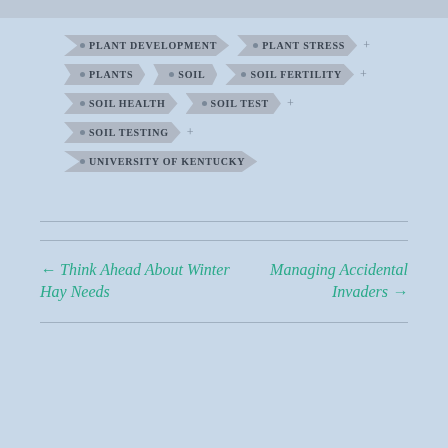PLANT DEVELOPMENT
PLANT STRESS
PLANTS
SOIL
SOIL FERTILITY
SOIL HEALTH
SOIL TEST
SOIL TESTING
UNIVERSITY OF KENTUCKY
← Think Ahead About Winter Hay Needs
Managing Accidental Invaders →